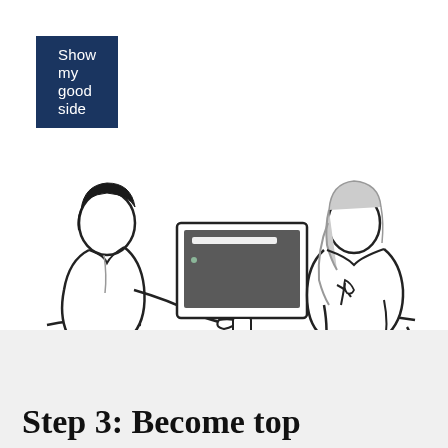Show my good side
[Figure (illustration): Line-art illustration of two people sitting at a desk looking at a computer monitor together. The person on the left has dark hair and is viewed from behind/side, typing or gesturing at a keyboard. The person on the right has lighter/gray hair and is seated facing slightly left, resting a hand near their chin thoughtfully. Between them is a desktop computer monitor showing a dark screen with a white horizontal bar.]
Step 3: Become top